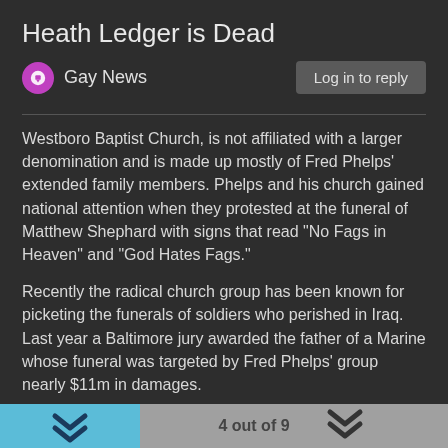Heath Ledger is Dead
Gay News
Westboro Baptist Church, is not affiliated with a larger denomination and is made up mostly of Fred Phelps' extended family members. Phelps and his church gained national attention when they protested at the funeral of Matthew Shephard with signs that read "No Fags in Heaven" and "God Hates Fags."
Recently the radical church group has been known for picketing the funerals of soldiers who perished in Iraq. Last year a Baltimore jury awarded the father of a Marine whose funeral was targeted by Fred Phelps' group nearly $11m in damages.
The funeral protests have lead 22 US states, including Illinois, to enact or propose laws to limit the rights of protesters at funerals.
Westboro Baptist Church is also known to condemn Muslims, Roman Catholics and Jews.
Louis Theroux's BBC documentary America's Most Hated Family...
4 out of 9